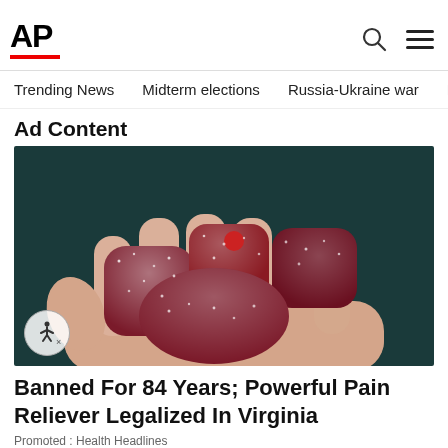AP
Trending News   Midterm elections   Russia-Ukraine war   Dona
Ad Content
[Figure (photo): A hand holding several dark red sugary gummy candy pieces against a dark teal background]
Banned For 84 Years; Powerful Pain Reliever Legalized In Virginia
Promoted : Health Headlines